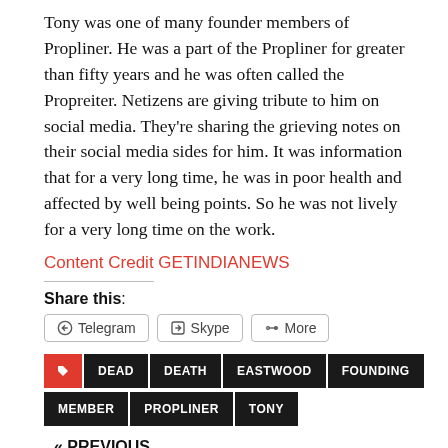Tony was one of many founder members of Propliner. He was a part of the Propliner for greater than fifty years and he was often called the Propreiter. Netizens are giving tribute to him on social media. They're sharing the grieving notes on their social media sides for him. It was information that for a very long time, he was in poor health and affected by well being points. So he was not lively for a very long time on the work.
Content Credit GETINDIANEWS
Share this:
Telegram | Skype | More
DEAD | DEATH | EASTWOOD | FOUNDING | MEMBER | PROPLINER | TONY
« PREVIOUS
Who was Andrew Steven Myles and what was his cause of death?